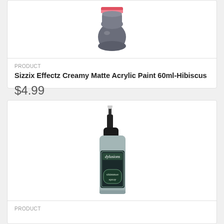[Figure (photo): Sizzix Effectz Creamy Matte Acrylic Paint 60ml-Hibiscus product photo showing a small round paint jar with red and pink label on top and dark gray/charcoal paint body]
PRODUCT
Sizzix Effectz Creamy Matte Acrylic Paint 60ml-Hibiscus
$4.99
[Figure (photo): Dylusions Shimmer Spray product photo showing a small glass spray bottle with black spray pump cap and teal/dark shimmer spray label with decorative gothic lettering]
PRODUCT